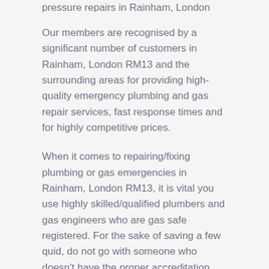pressure repairs in Rainham, London RM13 and more.
Our members are recognised by a significant number of customers in Rainham, London RM13 and the surrounding areas for providing high-quality emergency plumbing and gas repair services, fast response times and for highly competitive prices.
When it comes to repairing/fixing plumbing or gas emergencies in Rainham, London RM13, it is vital you use highly skilled/qualified plumbers and gas engineers who are gas safe registered. For the sake of saving a few quid, do not go with someone who doesn't have the proper accreditation, qualifications and who isn't gas safe registered. If you choose to ignore this, especially when it comes to gas emergencies in Rainham, London RM13, the consequences can be fatal. Safety is paramount and should always come first.